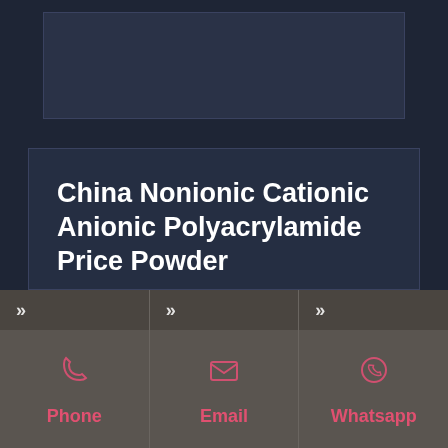[Figure (photo): Product image placeholder area at top of page]
China Nonionic Cationic Anionic Polyacrylamide Price Powder
Polyacrylamide, Anionic Polyacrylamide, Polyacrylamide Price manufacturer / supplier in China, offering Nonionic Cationic Anionic Polyacrylamide Price Powder MSDS, Pool Filter Balls 320 G Pool Accessories Pool Cleaner for
Phone | Email | Whatsapp